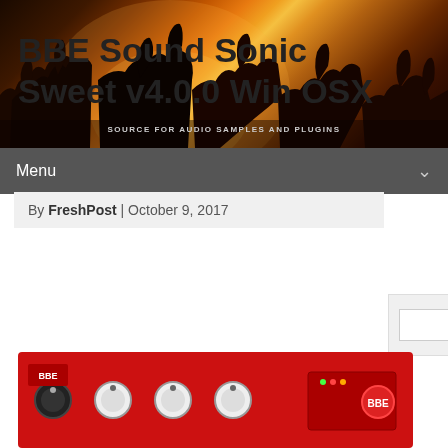[Figure (photo): Concert crowd banner photo with silhouettes of people with raised hands lit by warm orange/yellow stage light. Text overlay reads 'SOURCE FOR AUDIO SAMPLES AND PLUGINS'.]
Menu
BBE Sound Sonic Sweet v4.0.0 Win OSX
By FreshPost | October 9, 2017
[Figure (photo): Photo of a red BBE audio hardware device/plugin unit with knobs and controls.]